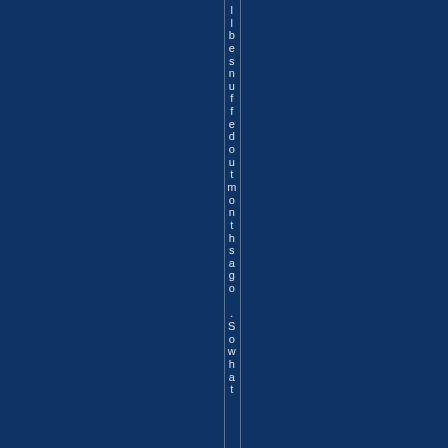l l b e s n u f f e d o u t m o n t h s a g o . S o w h a t